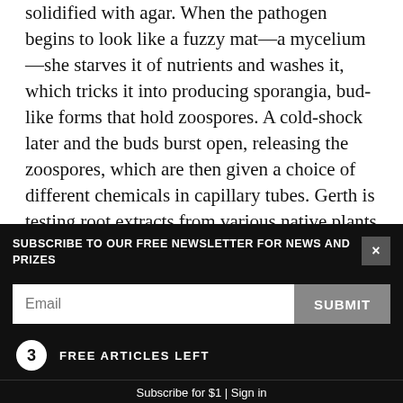solidified with agar. When the pathogen begins to look like a fuzzy mat—a mycelium—she starves it of nutrients and washes it, which tricks it into producing sporangia, bud-like forms that hold zoospores. A cold-shock later and the buds burst open, releasing the zoospores, which are then given a choice of different chemicals in capillary tubes. Gerth is testing root extracts from various native plants to see if they attract or repel zoospores.
“We just watch it in the microscope and see which chemical they pick. Then you count the spores—so
SUBSCRIBE TO OUR FREE NEWSLETTER FOR NEWS AND PRIZES
Email
SUBMIT
3 FREE ARTICLES LEFT
Subscribe for $1 | Sign in